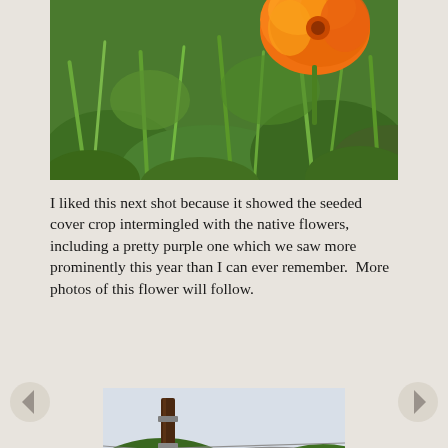[Figure (photo): Close-up photograph of an orange California poppy flower against lush green grass and foliage background]
I liked this next shot because it showed the seeded cover crop intermingled with the native flowers, including a pretty purple one which we saw more prominently this year than I can ever remember.  More photos of this flower will follow.
[Figure (photo): Photograph of a wooden fence post with wire fencing in the foreground, and green forested hills visible in the background under a pale sky]